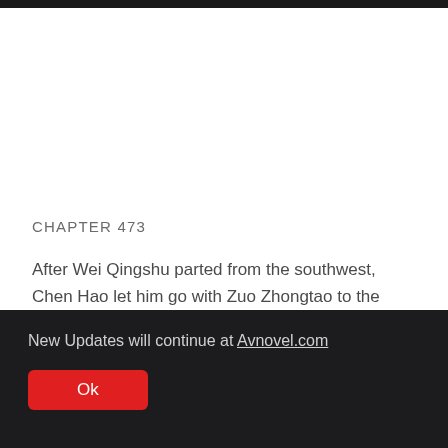CHAPTER 473
After Wei Qingshu parted from the southwest, Chen Hao let him go with Zuo Zhongtao to the southwest border.
New Updates will continue at Avnovel.com
Ok